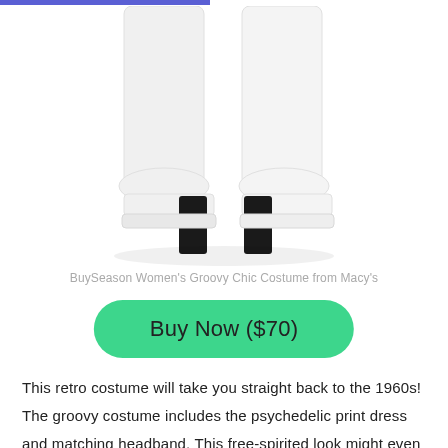[Figure (photo): White platform go-go boots with black heel, shown from mid-calf down, on a white background]
BuySeason Women's Groovy Chic Costume from Macy's
Buy Now ($70)
This retro costume will take you straight back to the 1960s! The groovy costume includes the psychedelic print dress and matching headband. This free-spirited look might even make you feel as if you are at Woodstock this Halloween.